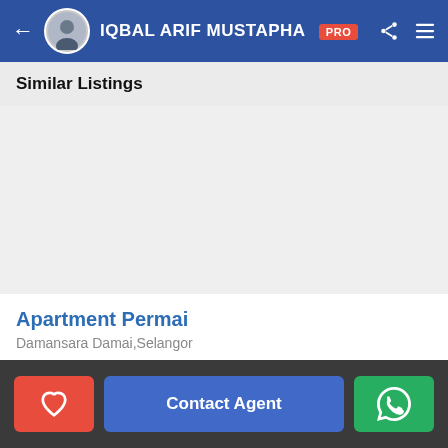IQBAL ARIF MUSTAPHA PRO
Similar Listings
[Figure (photo): Property listing image placeholder for Apartment Permai]
Apartment Permai
Damansara Damai,Selangor
by HAIRUL HAFIZ PRO
Contact Agent